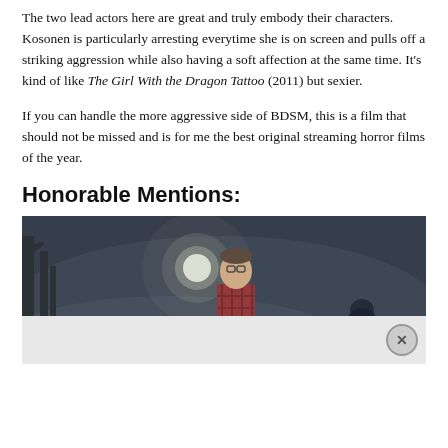The two lead actors here are great and truly embody their characters. Kosonen is particularly arresting everytime she is on screen and pulls off a striking aggression while also having a soft affection at the same time. It's kind of like The Girl With the Dragon Tattoo (2011) but sexier.
If you can handle the more aggressive side of BDSM, this is a film that should not be missed and is for me the best original streaming horror films of the year.
Honorable Mentions:
[Figure (photo): A dark, foggy scene showing a person wearing glasses and a plaid shirt standing outdoors at night with a bright light source (possibly a headlight or moon) in the background among trees. Below the main image is a lighter advertisement bar with an X close button.]